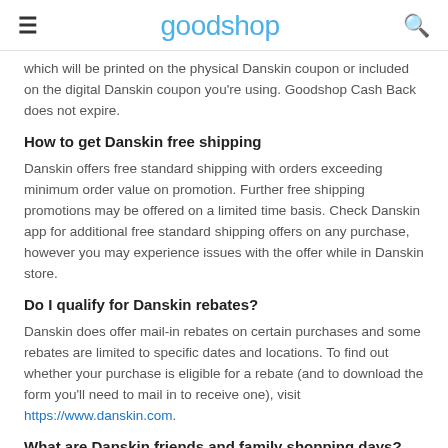goodshop
which will be printed on the physical Danskin coupon or included on the digital Danskin coupon you're using. Goodshop Cash Back does not expire.
How to get Danskin free shipping
Danskin offers free standard shipping with orders exceeding minimum order value on promotion. Further free shipping promotions may be offered on a limited time basis. Check Danskin app for additional free standard shipping offers on any purchase, however you may experience issues with the offer while in Danskin store.
Do I qualify for Danskin rebates?
Danskin does offer mail-in rebates on certain purchases and some rebates are limited to specific dates and locations. To find out whether your purchase is eligible for a rebate (and to download the form you'll need to mail in to receive one), visit https://www.danskin.com.
What are Danskin friends and family shopping days?